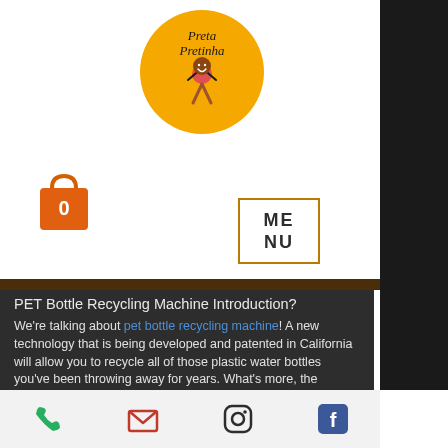[Figure (logo): Preta Pretinha logo: yellow circle with cartoon girl and handwritten text]
[Figure (illustration): Orange shopping bag icon with number 0]
[Figure (illustration): MENU button with orange border]
PET Bottle Recycling Machine Introduction?
We're talking about pet bottle recycling machine! A new technology that is being developed and patented in California will allow you to recycle all of those plastic water bottles you've been throwing away for years. What's more, the machine is easy to use and will keep your pets safe from ingesting dangerous chemicals.
PET Washing Line
There is a lot of dirt on your pet. It is very important to wash it off because this will
Phone | Email | Instagram | Facebook